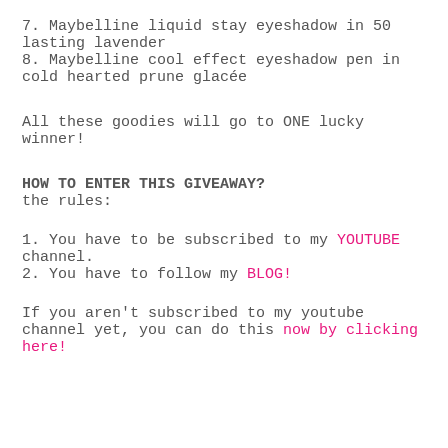7. Maybelline liquid stay eyeshadow in 50 lasting lavender
8. Maybelline cool effect eyeshadow pen in cold hearted prune glacée
All these goodies will go to ONE lucky winner!
HOW TO ENTER THIS GIVEAWAY?
the rules:
1. You have to be subscribed to my YOUTUBE channel.
2. You have to follow my BLOG!
If you aren't subscribed to my youtube channel yet, you can do this now by clicking here!